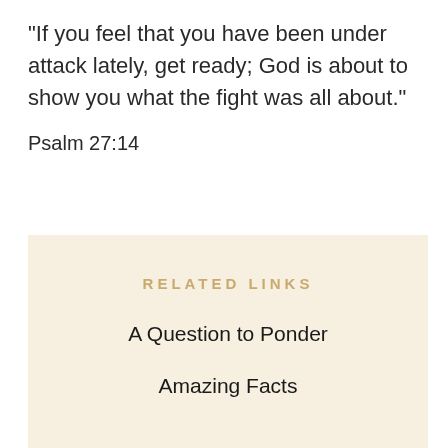"If you feel that you have been under attack lately, get ready; God is about to show you what the fight was all about."
Psalm 27:14
RELATED LINKS
A Question to Ponder
Amazing Facts